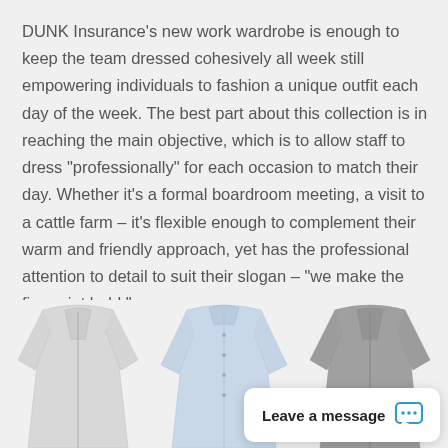DUNK Insurance's new work wardrobe is enough to keep the team dressed cohesively all week still empowering individuals to fashion a unique outfit each day of the week. The best part about this collection is in reaching the main objective, which is to allow staff to dress "professionally" for each occasion to match their day. Whether it's a formal boardroom meeting, a visit to a cattle farm – it's flexible enough to complement their warm and friendly approach, yet has the professional attention to detail to suit their slogan – "we make the fine print bold."
[Figure (photo): Three shirts/jackets displayed side by side: a light grey zip-up jacket on the left, a light blue dress shirt in the middle, and a dark grey zip-up jacket on the right.]
Leave a message